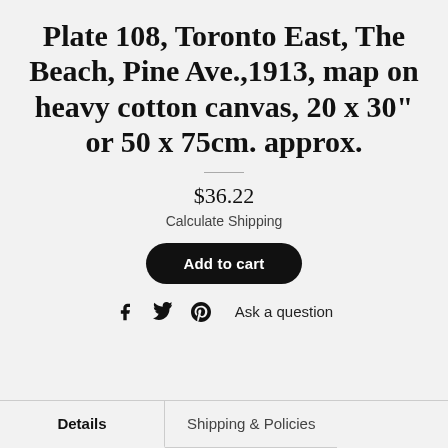Plate 108, Toronto East, The Beach, Pine Ave.,1913, map on heavy cotton canvas, 20 x 30" or 50 x 75cm. approx.
$36.22
Calculate Shipping
Add to cart
Ask a question
Details
Shipping & Policies